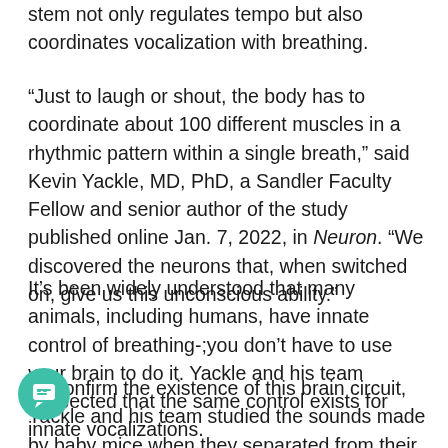stem not only regulates tempo but also coordinates vocalization with breathing.
“Just to laugh or shout, the body has to coordinate about 100 different muscles in a rhythmic pattern within a single breath,” said Kevin Yackle, MD, PhD, a Sandler Faculty Fellow and senior author of the study published online Jan. 7, 2022, in Neuron. “We discovered the neurons that, when switched on, give us this unconscious ability.”
It’s been widely understood that many animals, including humans, have innate control of breathing-;you don’t have to use your brain to do it. Yackle and his team suspected that the same control exists for innate vocalizations.
To confirm the existence of this brain circuit, Yackle and his team studied the sounds made by baby mice when they separated from their mothers. The babies’ cries had a recognizable pattern associated with specific muscle